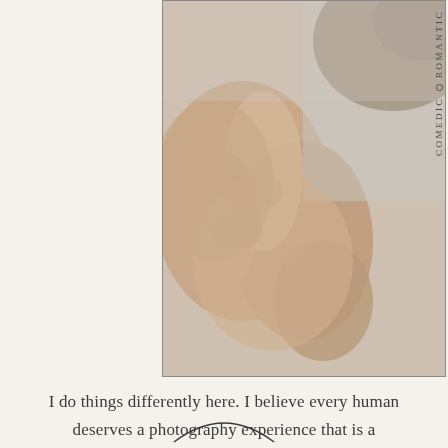[Figure (photo): Close-up photograph of hands touching or clasped together, with soft warm skin tones against a light gray background. Partial view of a person's head visible in upper right corner.]
ROMANTIC ◦ COMEDIC
I do things differently here. I believe every human deserves a photography experience that is a celebration of their individuality. Embracing imperfection and documenting genuity is as real as it gets - furthermore, it's you and your legacy.